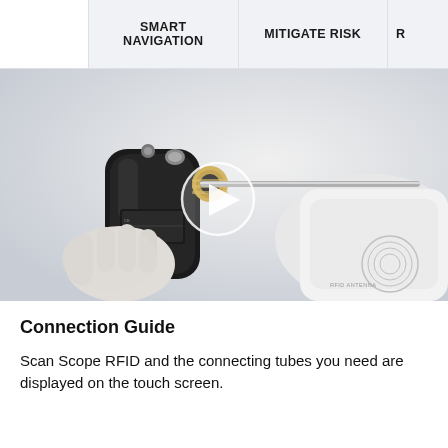SMART NAVIGATION | MITIGATE RISK | R
[Figure (photo): A gloved hand holding a black medical endoscope/scope device being inserted or connected to a white medical unit with RFID antenna label. A video play button overlay is shown in the center of the image.]
Connection Guide
Scan Scope RFID and the connecting tubes you need are displayed on the touch screen.